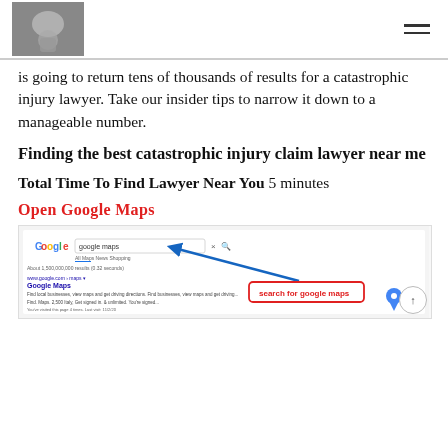[Logo image] [Hamburger menu]
is going to return tens of thousands of results for a catastrophic injury lawyer. Take our insider tips to narrow it down to a manageable number.
Finding the best catastrophic injury claim lawyer near me
Total Time To Find Lawyer Near You 5 minutes
Open Google Maps
[Figure (screenshot): Screenshot of a Google search page showing 'google maps' typed in the search bar, with a blue arrow pointing to the search box, and a red-outlined callout label reading 'search for google maps'. The Google Maps logo/icon appears at the bottom right.]